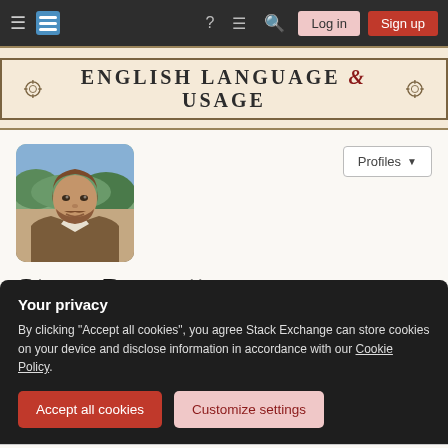English Language & Usage — Stack Exchange navigation bar with Log in and Sign up buttons
ENGLISH LANGUAGE & USAGE
[Figure (photo): Profile photo of Steve Bennett, a man with brown hair and beard outdoors]
Steve Bennett
Member for 10 years, 9 months   Last seen more than a month ago
Melbourne, Australia
Your privacy
By clicking "Accept all cookies", you agree Stack Exchange can store cookies on your device and disclose information in accordance with our Cookie Policy.
Accept all cookies   Customize settings